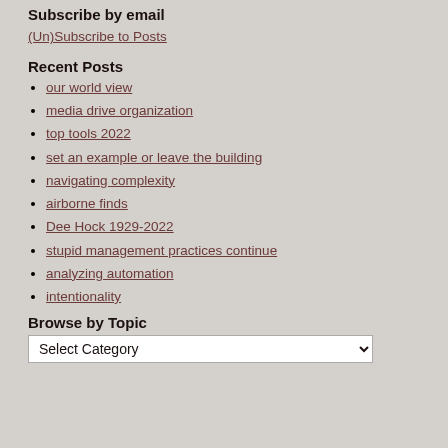Subscribe by email
(Un)Subscribe to Posts
Recent Posts
our world view
media drive organization
top tools 2022
set an example or leave the building
navigating complexity
airborne finds
Dee Hock 1929-2022
stupid management practices continue
analyzing automation
intentionality
Browse by Topic
Select Category